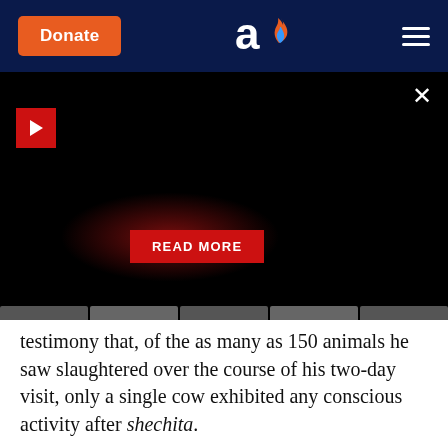Donate | [logo] | [menu]
[Figure (screenshot): Dark video player area with red play button in top-left, close X button top-right, red glow in center, and a red READ MORE button centered lower in the frame. A tab strip appears at the bottom of the video area.]
testimony that, of the as many as 150 animals he saw slaughtered over the course of his two-day visit, only a single cow exhibited any conscious activity after shechita.
What is more, USDA inspectors are typically present on the killing floor during animal slaughter, to ensure that the process complies with federal standards. The inspectors present at the Postville plant during the period PETA compiled the images in its video